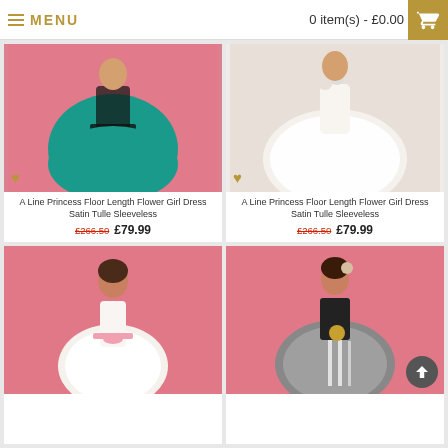MENU   0 item(s) - £0.00
[Figure (photo): Green satin teal A-line ball gown flower girl dress on pink background]
A Line Princess Floor Length Flower Girl Dress Satin Tulle Sleeveless
£266.50  £79.99
[Figure (photo): White ivory A-line princess flower girl dress with floral detail on pale background]
A Line Princess Floor Length Flower Girl Dress Satin Tulle Sleeveless
£266.50  £79.99
[Figure (photo): Young girl in white lace flower girl dress with pink sash on pink background]
[Figure (photo): Young girl in black and grey tulle flower girl dress with gold flower sash on pink background]